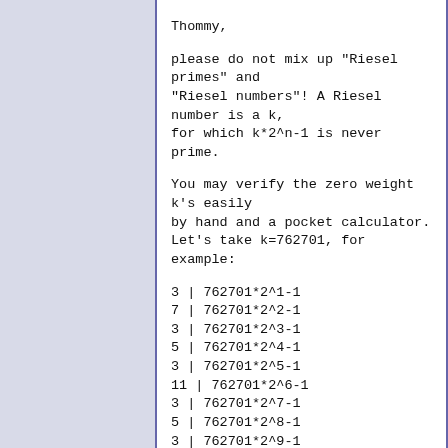Thommy,
please do not mix up "Riesel primes" and "Riesel numbers"! A Riesel number is a k, for which k*2^n-1 is never prime.
You may verify the zero weight k's easily by hand and a pocket calculator. Let's take k=762701, for example:
3 | 762701*2^1-1
7 | 762701*2^2-1
3 | 762701*2^3-1
5 | 762701*2^4-1
3 | 762701*2^5-1
11 | 762701*2^6-1
3 | 762701*2^7-1
5 | 762701*2^8-1
3 | 762701*2^9-1
13 | 762701*2^10-1
3 | 762701*2^11-1
5 | 762701*2^12-1
3 | 762701*2^13-1
7 | 762701*2^14-1
3 | 762701*2^15-1
5 | 762701*2^16-1
3 | 762701*2^17-1
17 | 762701*2^18-1
3 | 762701*2^19-1